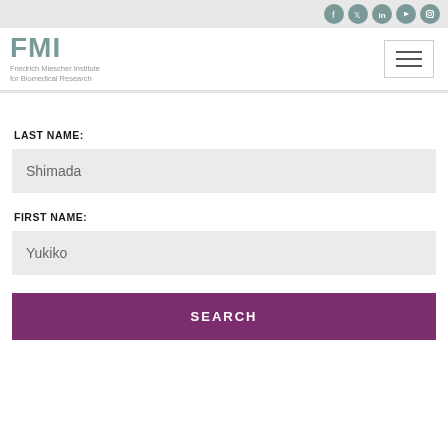FMI — Friedrich Miescher Institute for Biomedical Research
LAST NAME:
Shimada
FIRST NAME:
Yukiko
SEARCH